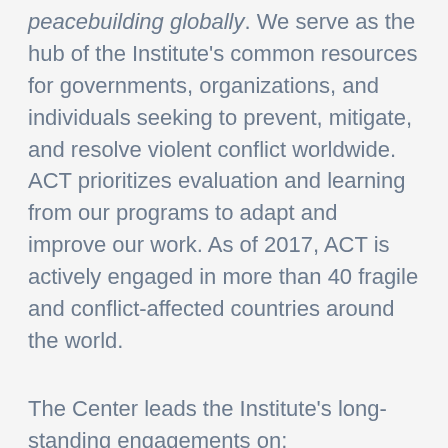peacebuilding globally. We serve as the hub of the Institute's common resources for governments, organizations, and individuals seeking to prevent, mitigate, and resolve violent conflict worldwide. ACT prioritizes evaluation and learning from our programs to adapt and improve our work. As of 2017, ACT is actively engaged in more than 40 fragile and conflict-affected countries around the world.
The Center leads the Institute's long-standing engagements on:
Justice, security, rule of law: ACT's Justice and Security Dialogue (JSD) program, which brings